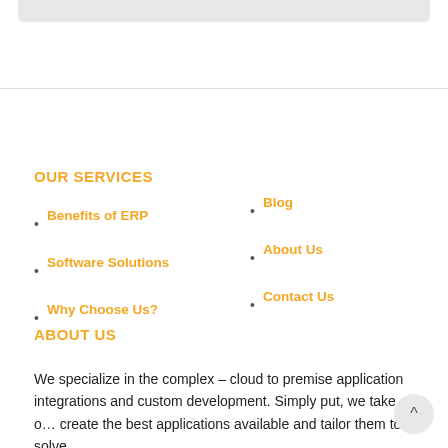OUR SERVICES
Benefits of ERP
Software Solutions
Why Choose Us?
Blog
About Us
Contact Us
ABOUT US
We specialize in the complex – cloud to premise application integrations and custom development. Simply put, we take o… create the best applications available and tailor them to solve